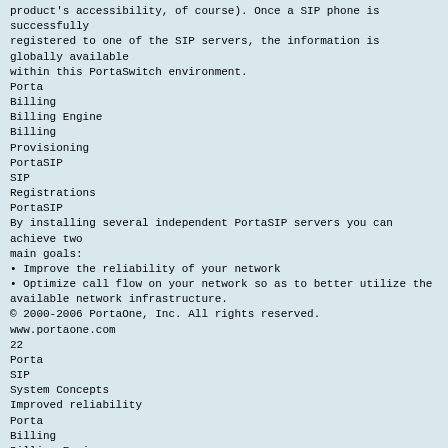product's accessibility, of course). Once a SIP phone is successfully
registered to one of the SIP servers, the information is globally available
within this PortaSwitch environment.
Porta
Billing
Billing Engine
Billing
Provisioning
PortaSIP
SIP
Registrations
PortaSIP
By installing several independent PortaSIP servers you can achieve two
main goals:
• Improve the reliability of your network
• Optimize call flow on your network so as to better utilize the
available network infrastructure.
© 2000-2006 PortaOne, Inc. All rights reserved.
www.portaone.com
22
Porta
SIP
System Concepts
Improved reliability
Porta
Billing
Billing Engine
Billing
Provisioning